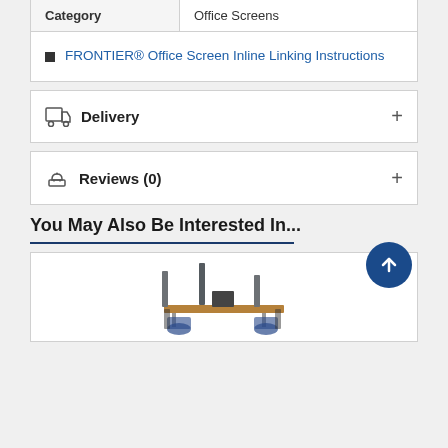| Category | Office Screens |
| --- | --- |
| Category | Office Screens |
FRONTIER® Office Screen Inline Linking Instructions
Delivery +
Reviews (0) +
You May Also Be Interested In...
[Figure (photo): Office workstation with screens/panels, chairs and desks arrangement]